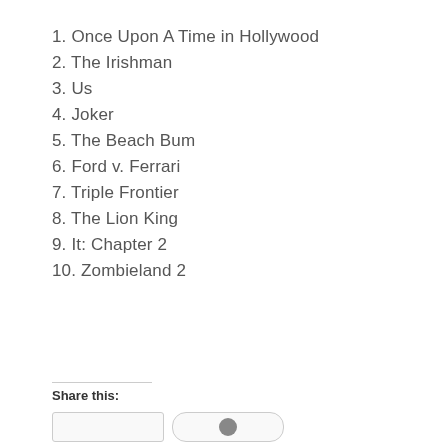1. Once Upon A Time in Hollywood
2. The Irishman
3. Us
4. Joker
5. The Beach Bum
6. Ford v. Ferrari
7. Triple Frontier
8. The Lion King
9. It: Chapter 2
10. Zombieland 2
Share this: